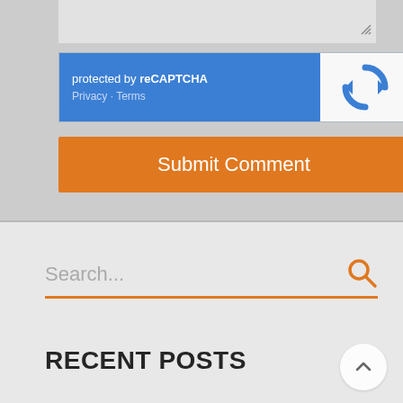[Figure (screenshot): reCAPTCHA widget with blue left panel showing 'protected by reCAPTCHA' text and Privacy/Terms links, and white right panel with reCAPTCHA logo]
[Figure (screenshot): Orange Submit Comment button]
Search...
RECENT POSTS